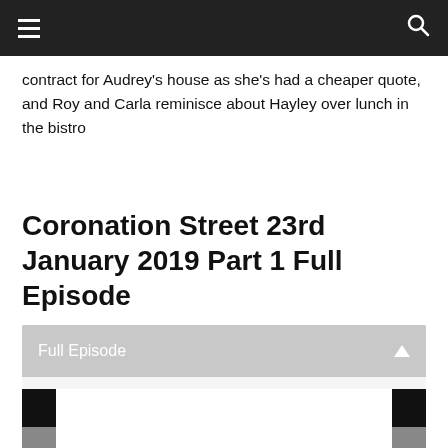≡  🔍
contract for Audrey's house as she's had a cheaper quote, and Roy and Carla reminisce about Hayley over lunch in the bistro
Coronation Street 23rd January 2019 Part 1 Full Episode
[Figure (screenshot): Video widget with 'Full Episode' header and a video player area with dark side bars and white center area]